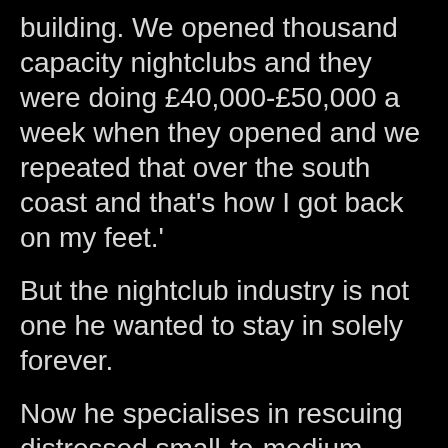building. We opened thousand capacity nightclubs and they were doing £40,000-£50,000 a week when they opened and we repeated that over the south coast and that's how I got back on my feet.'
But the nightclub industry is not one he wanted to stay in solely forever.
Now he specialises in rescuing distressed small-to-medium sized businesses mainly in the leisure, transport and recruitment sectors, which he conducts through his private investment business, REL Capital.
It appears his darker days of depression